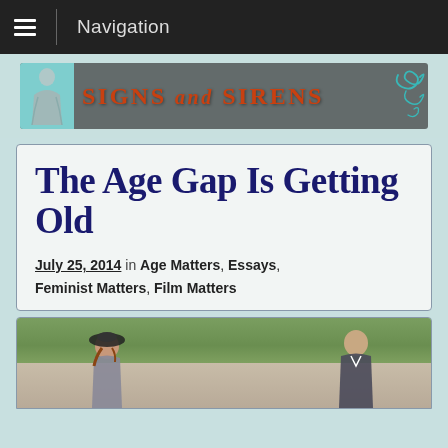Navigation
[Figure (logo): Signs and Sirens website banner logo with teal background on left, decorative figure, and orange/red serif text reading SIGNS and SIRENS on dark gray background with swirl decoration on right]
The Age Gap Is Getting Old
July 25, 2014 in Age Matters, Essays, Feminist Matters, Film Matters
[Figure (photo): Photo of a woman and man, partially visible at bottom of page, outdoors with greenery in background]